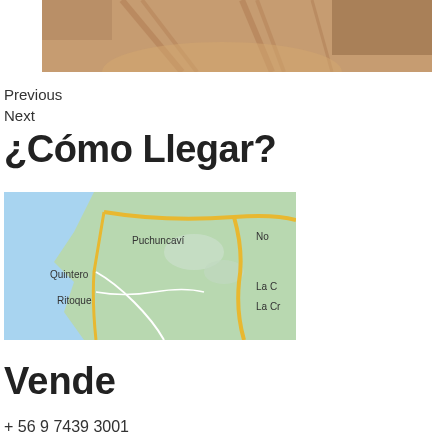[Figure (photo): Dirt road with tire tracks, sandy/reddish soil, hills in background]
Previous
Next
¿Cómo Llegar?
[Figure (map): Google Maps screenshot showing Puchuncaví, Quintero, Ritoque area in Chile with roads and water]
Vende
+ 56 9 7439 3001